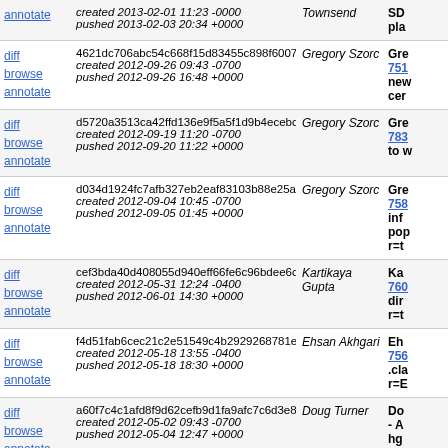| Actions | Commit | Author | Description |
| --- | --- | --- | --- |
| diff browse annotate | created 2013-02-01 11:23 -0000
pushed 2013-02-03 20:34 +0000 | Townsend | SD pla |
| diff browse annotate | 4621dc706abc54c668f15d83455c898f6007fbe2
created 2012-09-26 09:43 -0700
pushed 2012-09-26 16:48 +0000 | Gregory Szorc | Gre 751 new cer |
| diff browse annotate | d5720a3513ca42ffd136e9f5a5f1d9b4ecebcc60
created 2012-09-19 11:20 -0700
pushed 2012-09-20 11:22 +0000 | Gregory Szorc | Gre 783 to w |
| diff browse annotate | d034d1924fc7afb327eb2eaf83103b88e25afb4d
created 2012-09-04 10:45 -0700
pushed 2012-09-05 01:45 +0000 | Gregory Szorc | Gre 758 inf pop r=t |
| diff browse annotate | cef3bda40d408055d940eff66fe6c96bdee6cf1d
created 2012-05-31 12:24 -0400
pushed 2012-06-01 14:30 +0000 | Kartikaya Gupta | Ka 760 dir r=t |
| diff browse annotate | f4d51fab6cec21c2e51549c4b2929268781ed93f
created 2012-05-18 13:55 -0400
pushed 2012-05-18 18:30 +0000 | Ehsan Akhgari | Eh 756 .cla r=E |
| diff browse annotate | a60f7c4c1afd8f9d62cefb9d1fa9afc7c6d3e891
created 2012-05-02 09:43 -0700
pushed 2012-05-04 12:47 +0000 | Doug Turner | Do - A hg |
| diff browse annotate | f78a0dea88fc286af49bb4e380fb6b87bcadee18
created 2012-02-13 14:36 -0800
pushed 2012-02-14 10:17 +0000 | Till Schneidereit | Ti 726 and Ecl |